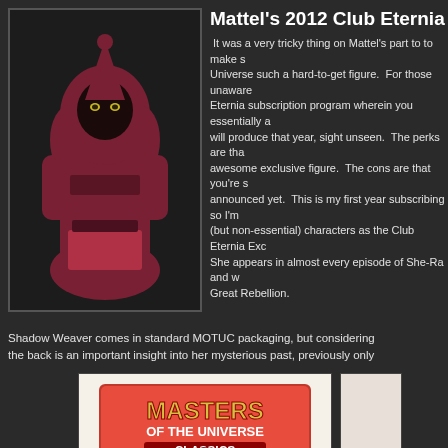[Figure (photo): Shadow Weaver action figure in dark red/maroon robes with black face and yellow eyes, standing pose]
Mattel's 2012 Club Eternia Exclusive Fi...
It was a very tricky thing on Mattel's part to to make s... Universe such a hard-to-get figure. For those unaware... Eternia subscription program wherein you essentially a... will produce that year, sight unseen. The perks are tha... awesome exclusive figure. The cons are that you're s... announced yet. This is my first year subscribing so I'm... (but non-essential) characters as the Club Eternia Exc... She appears in almost every episode of She-Ra and w... Great Rebellion.
Shadow Weaver comes in standard MOTUC packaging, but considering... the back is an important insight into her mysterious past, previously only...
[Figure (photo): Masters of the Universe Classics packaging box with Shadow Weaver figure, showing the colorful logo with lightning effects]
[Figure (photo): Partial view of another image on the right side, cut off]